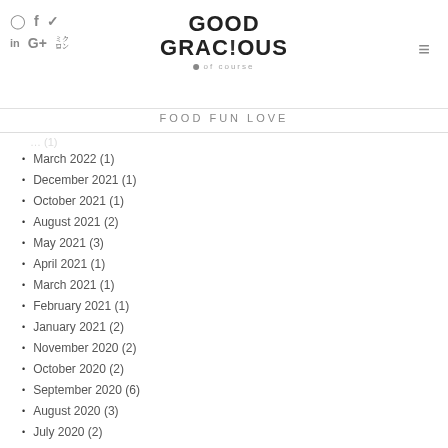Good Gracious of course
FOOD FUN LOVE
March 2022 (1)
December 2021 (1)
October 2021 (1)
August 2021 (2)
May 2021 (3)
April 2021 (1)
March 2021 (1)
February 2021 (1)
January 2021 (2)
November 2020 (2)
October 2020 (2)
September 2020 (6)
August 2020 (3)
July 2020 (2)